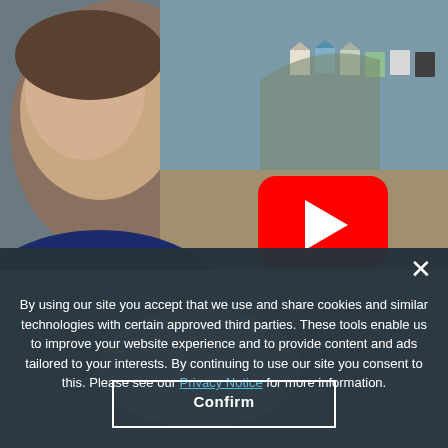[Figure (screenshot): YouTube video thumbnail showing a man's face on the left with beach huts visible in the background on the right, with a YouTube play button overlay in the center]
By using our site you accept that we use and share cookies and similar technologies with certain approved third parties. These tools enable us to improve your website experience and to provide content and ads tailored to your interests. By continuing to use our site you consent to this. Please see our Privacy Notice for more information.
Confirm